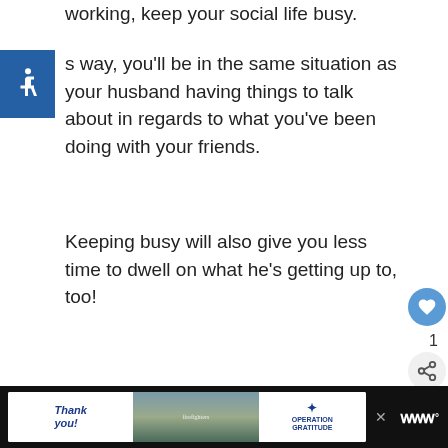working, keep your social life busy.
s way, you'll be in the same situation as your husband having things to talk about in regards to what you've been doing with your friends.
Keeping busy will also give you less time to dwell on what he's getting up to, too!
[Figure (other): Accessibility icon - wheelchair symbol in white on blue square background]
[Figure (other): Operation Gratitude advertisement banner with 'Thank you!' handwritten text, military photo, and Operation Gratitude logo]
[Figure (other): What's Next panel with thumbnail image and text 'What to Say When Callin...']
[Figure (other): Bottom bar with Operation Gratitude advertisement showing firefighters and Tidal logo]